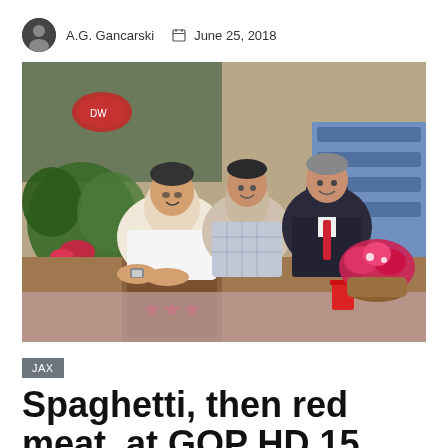A.G. Gancarski   June 25, 2018
[Figure (photo): Three men sitting at a table in what appears to be a church hall with flowers, drums, and blue pews visible in the background. A wooden podium with stars is in the foreground with a red cup on the table.]
JAX
Spaghetti, then red meat, at GOP HD 15